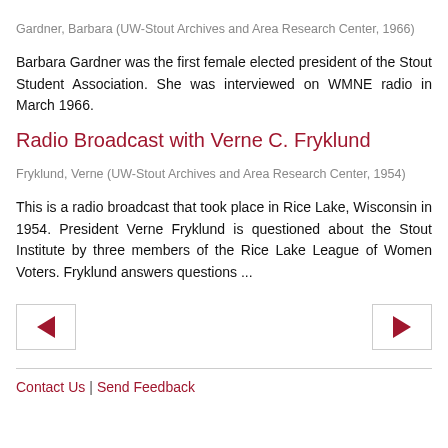Gardner, Barbara (UW-Stout Archives and Area Research Center, 1966)
Barbara Gardner was the first female elected president of the Stout Student Association. She was interviewed on WMNE radio in March 1966.
Radio Broadcast with Verne C. Fryklund
Fryklund, Verne (UW-Stout Archives and Area Research Center, 1954)
This is a radio broadcast that took place in Rice Lake, Wisconsin in 1954. President Verne Fryklund is questioned about the Stout Institute by three members of the Rice Lake League of Women Voters. Fryklund answers questions ...
Contact Us | Send Feedback